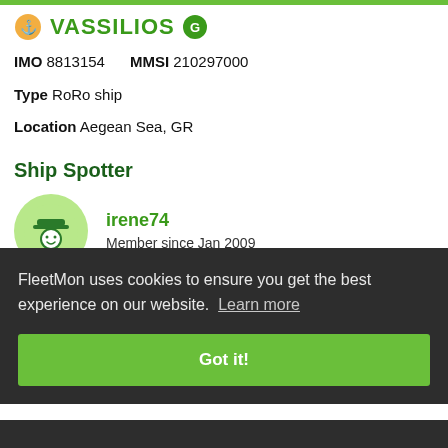VASSILIOS
IMO 8813154   MMSI 210297000
Type RoRo ship
Location Aegean Sea, GR
Ship Spotter
irene74
Member since Jan 2009
Photo Information
FleetMon uses cookies to ensure you get the best experience on our website. Learn more
Got it!